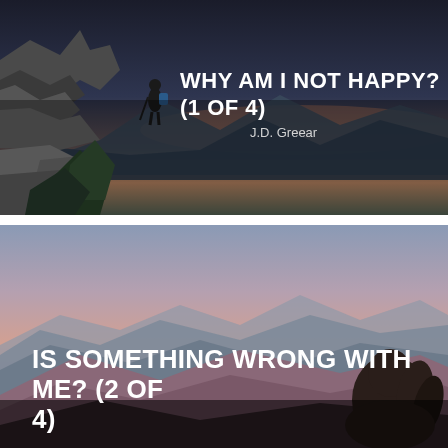[Figure (photo): Dark moody landscape photo showing a hiker standing on rocky terrain with mountain ridgeline at dusk, blue-grey tones. Text overlay: WHY AM I NOT HAPPY? (1 OF 4) and J.D. Greear]
WHY AM I NOT HAPPY? (1 OF 4)
J.D. Greear
[Figure (photo): Mountain landscape at sunset with pink and purple hues, silhouette of a person with long hair in foreground. Partially visible text: IS SOMETHING WRONG WITH ME? (2 OF 4)]
IS SOMETHING WRONG WITH ME? (2 OF 4)